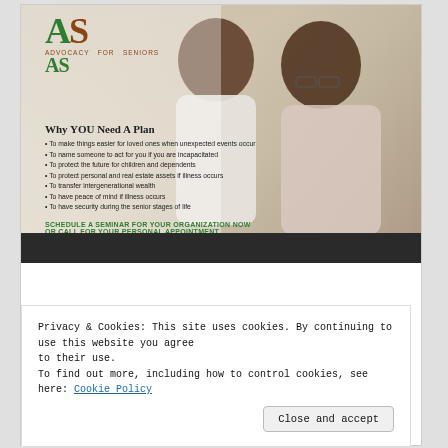[Figure (photo): Advertisement banner for Advocacy for Seniors organization showing two elderly African American individuals (a woman in white and a man in a light shirt) looking at something together. Logo with green and brown AS letters and text 'Advocacy for Seniors' in upper left.]
Why YOU Need A Plan
• To make things easier for loved ones when unexpected events occur
• To name someone to act for you if you are incapacitated
• To protect the future for children and dependents
• To protect personal and real estate assets if illness occurs
• To transfer intergenerational wealth
• To have peace of mind if illness occurs
• To have security during the senior stages of life
SCHEDULE A SEMINAR FOR YOUR ORGANIZATION NOW
OR CALL FOR YOUR PERSONAL APPOINTMENT
(404)- 808-3937 OR (404) 931-4255 EMAIL: Senioradvocatesatll@gmail.com
Why YOU Need A Plan • To make things easier for loved ones when unexpected events occur • To name someone to act for you if you are
Privacy & Cookies: This site uses cookies. By continuing to use this website you agree to their use.
To find out more, including how to control cookies, see here: Cookie Policy
Close and accept